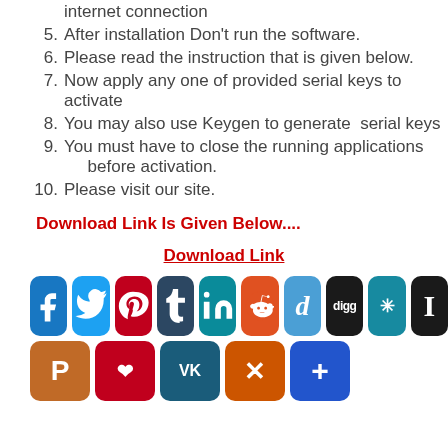internet connection
5. After installation Don't run the software.
6. Please read the instruction that is given below.
7. Now apply any one of provided serial keys to activate
8. You may also use Keygen to generate serial keys
9. You must have to close the running applications before activation.
10. Please visit our site.
Download Link Is Given Below....
Download Link
[Figure (infographic): Row of social media sharing icons: Facebook, Twitter, Pinterest, Tumblr, LinkedIn, Reddit, Delicious, Digg, StumbleUpon, Instapaper, and second row: Print, Pocket, VK, XING, More]